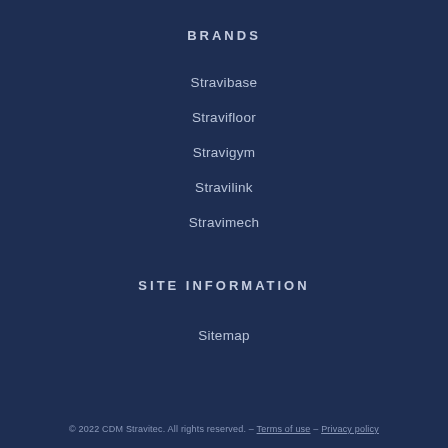BRANDS
Stravibase
Stravifloor
Stravigym
Stravilink
Stravimech
SITE INFORMATION
Sitemap
© 2022 CDM Stravitec. All rights reserved. – Terms of use – Privacy policy